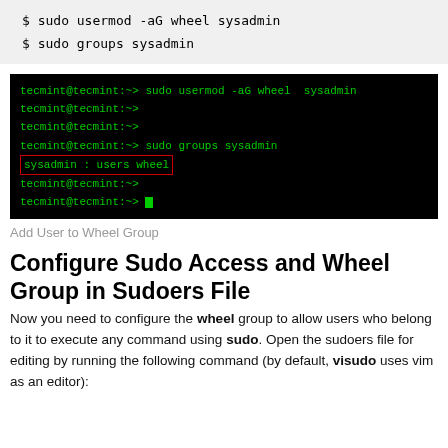$ sudo usermod -aG wheel sysadmin
$ sudo groups sysadmin
[Figure (screenshot): Terminal screenshot showing commands: sudo usermod -aG wheel sysadmin, sudo groups sysadmin, with output 'sysadmin : users wheel' highlighted in a red box, followed by two tecmint@tecmint:-> prompts]
Add User to Wheel Group
Configure Sudo Access and Wheel Group in Sudoers File
Now you need to configure the wheel group to allow users who belong to it to execute any command using sudo. Open the sudoers file for editing by running the following command (by default, visudo uses vim as an editor):